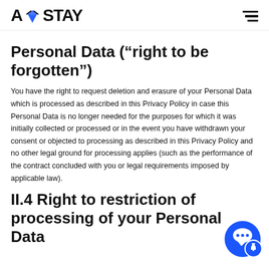AVSTAY
Personal Data (“right to be forgotten”)
You have the right to request deletion and erasure of your Personal Data which is processed as described in this Privacy Policy in case this Personal Data is no longer needed for the purposes for which it was initially collected or processed or in the event you have withdrawn your consent or objected to processing as described in this Privacy Policy and no other legal ground for processing applies (such as the performance of the contract concluded with you or legal requirements imposed by applicable law).
II.4 Right to restriction of processing of your Personal Data